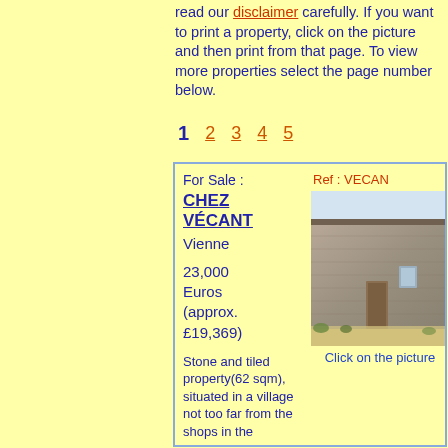read our disclaimer carefully. If you want to print a property, click on the picture and then print from that page. To view more properties select the page number below.
1  2  3  4  5
For Sale : CHEZ VÉCANT Vienne 23,000 Euros (approx. £19,369) Stone and tiled property(62 sqm), situated in a village not too far from the shops in the
Ref : VECANT
[Figure (photo): Stone building exterior with weathered walls, a door, and gravel/dirt ground in front]
Click on the picture